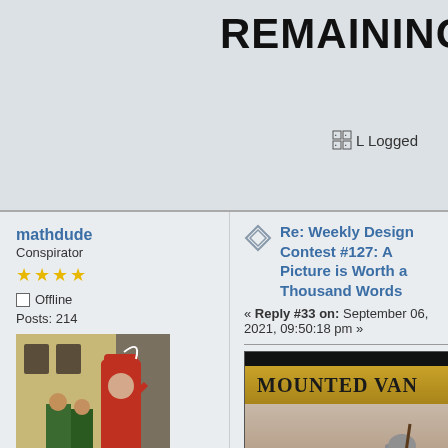REMAINING
Logged
mathdude
Conspirator
★★★★
Offline
Posts: 214
[Figure (photo): User avatar photo showing a person in colorful medieval/renaissance costume with red cap and cape, raising their arm, with others in green in the background]
Respect: +225
Re: Weekly Design Contest #127: A Picture is Worth a Thousand Words
« Reply #33 on: September 06, 2021, 09:50:18 pm »
[Figure (illustration): Game card showing 'MOUNTED VAN...' text on a golden banner with a scene of a knight in armor with a red cape on horseback with other soldiers in a dusty battlefield background]